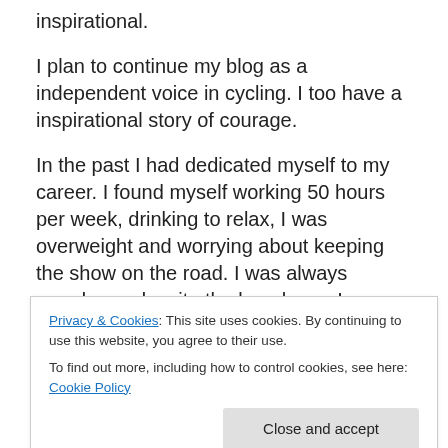inspirational.
I plan to continue my blog as a independent voice in cycling. I too have a inspirational story of courage.
In the past I had dedicated myself to my career. I found myself working 50 hours per week, drinking to relax, I was overweight and worrying about keeping the show on the road. I was always overdrawn despite the long hours I was working.
Then a friend said something to me that inspired great
Privacy & Cookies: This site uses cookies. By continuing to use this website, you agree to their use.
To find out more, including how to control cookies, see here: Cookie Policy
that aphorism about ships in the harbour in his book 'Salt